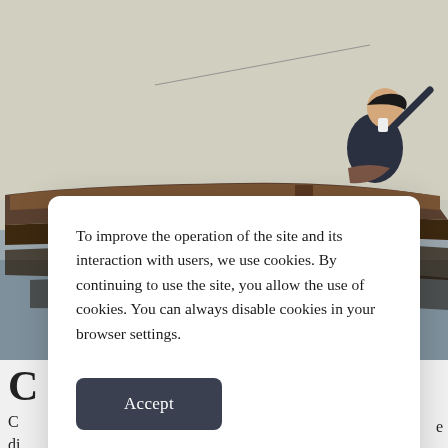[Figure (photo): A painting of a person sitting in a wooden rowboat on calm water, holding a fishing rod. The boat's dark reflection is visible in the still water below. The style is impressionist/realist oil painting.]
C...
C... di... H... in... ve... e
To improve the operation of the site and its interaction with users, we use cookies. By continuing to use the site, you allow the use of cookies. You can always disable cookies in your browser settings.